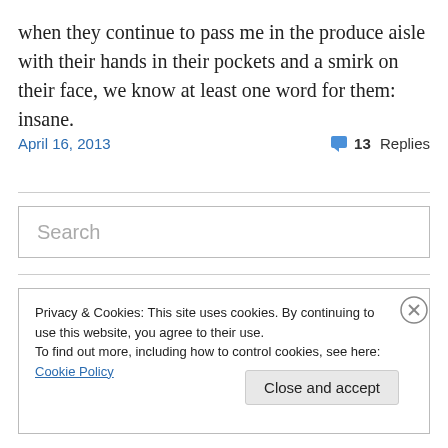when they continue to pass me in the produce aisle with their hands in their pockets and a smirk on their face, we know at least one word for them: insane.
April 16, 2013    💬 13 Replies
Search
Privacy & Cookies: This site uses cookies. By continuing to use this website, you agree to their use.
To find out more, including how to control cookies, see here: Cookie Policy
Close and accept